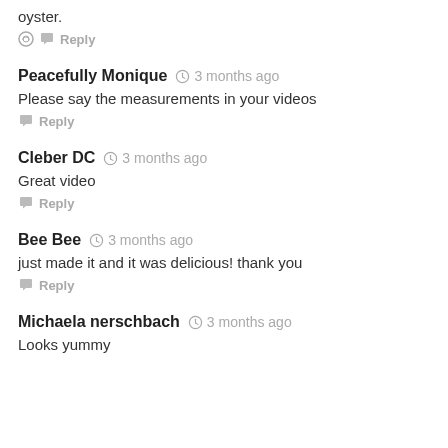oyster.
Reply
Peacefully Monique  3 months ago
Please say the measurements in your videos
Reply
Cleber DC  3 months ago
Great video
Reply
Bee Bee  3 months ago
just made it and it was delicious! thank you
Reply
Michaela nerschbach  3 months ago
Looks yummy